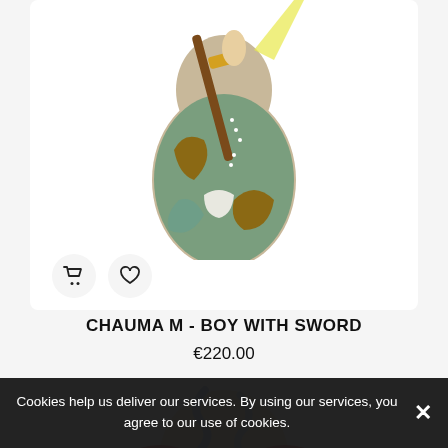[Figure (illustration): Illustrated matryoshka doll product - 'Boy with Sword' design, showing anime-style artwork with brown, green, yellow colors and sword imagery]
CHAUMA M - BOY WITH SWORD
€220.00
[Figure (illustration): Illustrated matryoshka doll product - second item, showing red cloth/robe with grey swirling smoke or spirit design on beige background]
Cookies help us deliver our services. By using our services, you agree to our use of cookies.